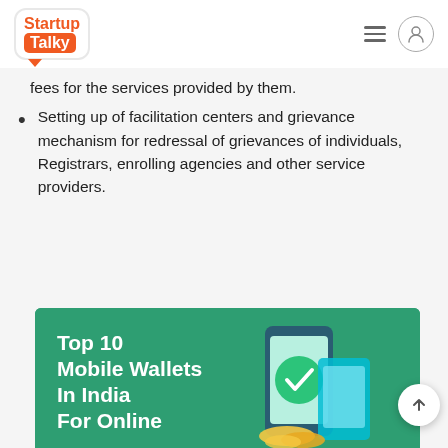StartupTalky
fees for the services provided by them.
Setting up of facilitation centers and grievance mechanism for redressal of grievances of individuals, Registrars, enrolling agencies and other service providers.
[Figure (illustration): Promotional banner for 'Top 10 Mobile Wallets In India For Online' with a green background and an illustration of a mobile phone with a wallet and a checkmark icon.]